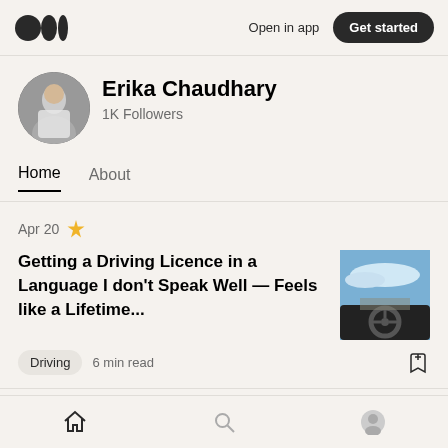Medium logo | Open in app | Get started
[Figure (photo): Profile photo of Erika Chaudhary, a woman in a white dress waving, circular avatar]
Erika Chaudhary
1K Followers
Home   About
Apr 20 ✦
Getting a Driving Licence in a Language I don't Speak Well — Feels like a Lifetime...
[Figure (photo): Thumbnail showing a car dashboard and steering wheel view from driver seat looking through windshield at sky and road]
Driving   6 min read
Feb 13 ▲
Home | Search | Profile